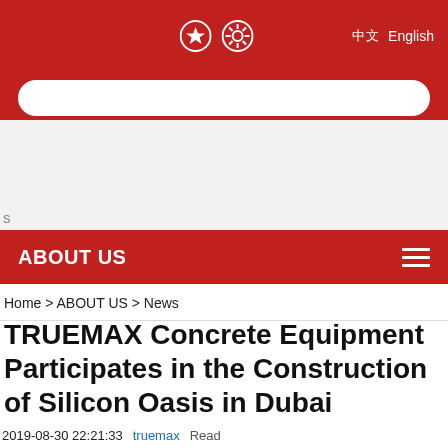☆ ⚙ 中文 English
[Figure (screenshot): Red navigation header bar with search input field]
ABOUT US
Home > ABOUT US > News
TRUEMAX Concrete Equipment Participates in the Construction of Silicon Oasis in Dubai
2019-08-30 22:21:33   truemax   Read